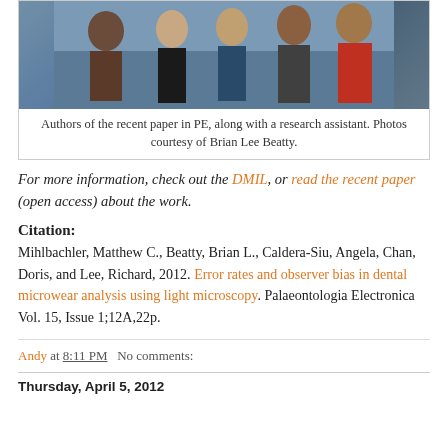[Figure (photo): Group photo of authors of the recent paper in PE, along with a research assistant]
Authors of the recent paper in PE, along with a research assistant. Photos courtesy of Brian Lee Beatty.
For more information, check out the DMIL, or read the recent paper (open access) about the work.
Citation:
Mihlbachler, Matthew C., Beatty, Brian L., Caldera-Siu, Angela, Chan, Doris, and Lee, Richard, 2012. Error rates and observer bias in dental microwear analysis using light microscopy. Palaeontologia Electronica Vol. 15, Issue 1;12A,22p.
Andy at 8:11 PM   No comments:
Thursday, April 5, 2012